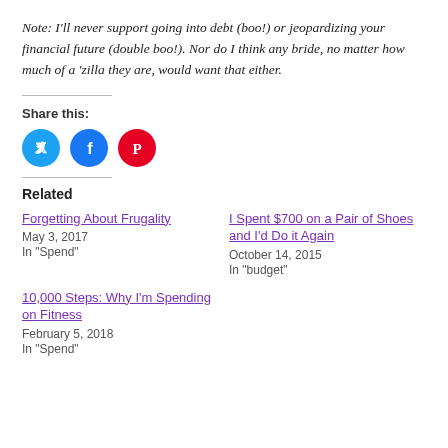Note: I'll never support going into debt (boo!) or jeopardizing your financial future (double boo!). Nor do I think any bride, no matter how much of a 'zilla they are, would want that either.
Share this:
[Figure (other): Social share icons: Twitter (blue circle), Facebook (blue circle), Pinterest (red circle)]
Related
Forgetting About Frugality
May 3, 2017
In "Spend"
I Spent $700 on a Pair of Shoes and I'd Do it Again
October 14, 2015
In "budget"
10,000 Steps: Why I'm Spending on Fitness
February 5, 2018
In "Spend"